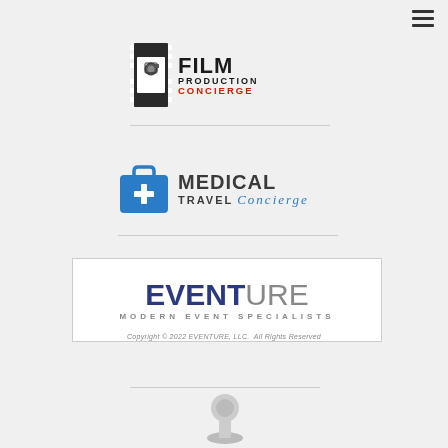[Figure (logo): Film Production Concierge logo with film strip icon, 'FILM' in bold black, 'PRODUCTION' in small caps black, 'CONCIERGE' in red]
[Figure (logo): Medical Travel Concierge logo with blue medical bag icon with cross, 'MEDICAL' bold gray, 'TRAVEL' bold gray, 'Concierge' in blue italic script]
[Figure (logo): Eventure Modern Event Specialists logo: 'EVENT' in bold navy blue, 'URE' in light gray, 'MODERN EVENT SPECIALISTS' in small spaced gray caps, on white box with border]
Copyright © 2022 EVENTURE, LLC.  All Rights Reserved
[Figure (logo): Partially visible logo at bottom of page]